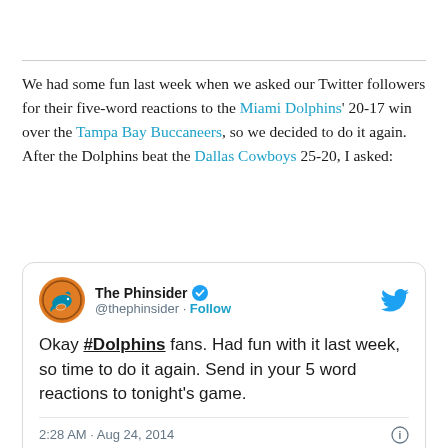We had some fun last week when we asked our Twitter followers for their five-word reactions to the Miami Dolphins' 20-17 win over the Tampa Bay Buccaneers, so we decided to do it again.  After the Dolphins beat the Dallas Cowboys 25-20, I asked:
[Figure (screenshot): Embedded tweet from @thephinsider (The Phinsider, verified account) dated 2:28 AM · Aug 24, 2014. Tweet text: 'Okay #Dolphins fans. Had fun with it last week, so time to do it again. Send in your 5 word reactions to tonight's game.' Tweet shows heart (1 like), Reply, and Copy link actions.]